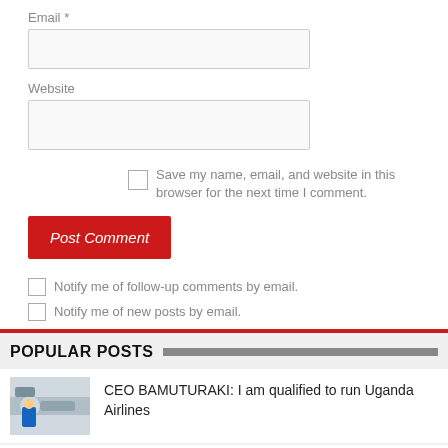Email *
Website
Save my name, email, and website in this browser for the next time I comment.
Post Comment
Notify me of follow-up comments by email.
Notify me of new posts by email.
POPULAR POSTS
CEO BAMUTURAKI: I am qualified to run Uganda Airlines
UNEB releases 2022 examinations timetable